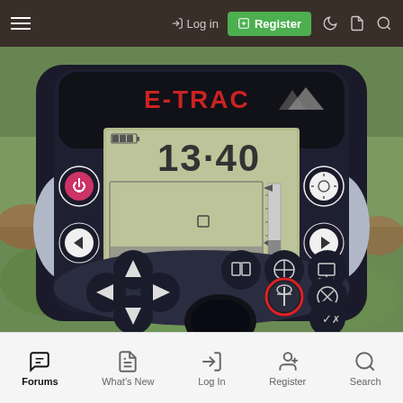≡   → Log in   ⊞ Register   ☾  📄  🔍
[Figure (photo): Photo of an E-TRAC metal detector control box showing LCD display with reading 13-40 and control buttons. One button is highlighted with a red circle.]
Forums   What's New   Log In   Register   Search